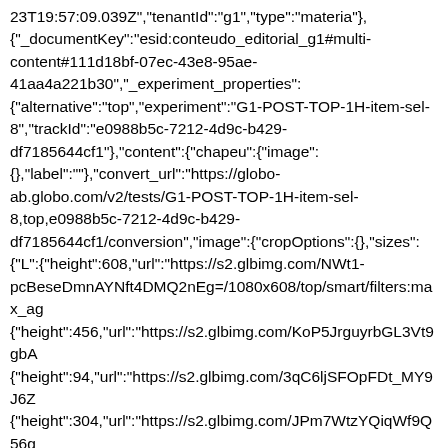23T19:57:09.039Z","tenantId":"g1","type":"materia"},{"_documentKey":"esid:conteudo_editorial_g1#multi-content#111d18bf-07ec-43e8-95ae-41aa4a221b30","_experiment_properties":{"alternative":"top","experiment":"G1-POST-TOP-1H-item-sel-8","trackId":"e0988b5c-7212-4d9c-b429-df7185644cf1"},{"content":{"chapeu":{"image":{}},"label":""},"convert_url":"https://globo-ab.globo.com/v2/tests/G1-POST-TOP-1H-item-sel-8,top,e0988b5c-7212-4d9c-b429-df7185644cf1/conversion","image":{"cropOptions":{},"sizes":{"L":{"height":608,"url":"https://s2.glbimg.com/NWt1-pcBeseDmnAYNft4DMQ2nEg=/1080x608/top/smart/filters:max_ag {"height":456,"url":"https://s2.glbimg.com/KoP5JrguyrbGL3Vt9gbA {"height":94,"url":"https://s2.glbimg.com/3qC6ljSFOpFDt_MY9J6Z {"height":304,"url":"https://s2.glbimg.com/JPm7WtzYQiqWf9Q56g {"height":620,"url":"https://s2.glbimg.com/E8ccXT00gteQW_4sPW {"height":106,"url":"https://s2.glbimg.com/r23uAJF3YDj1GrPqGoJ publicado nesta segunda também torna vagos outros dois cargos; eleições serão na quarta. Presidente da Câmara diz que decisão é 'regimental'; Ramos diz ver pressão do Planalto.","title":"Lira destitui Marcelo Ramos, crítico de Bolsonaro, da vice-presidência da Câmara","url":"https://g1.globo.com/politica/noticia/2022/05/23/ato-de-lira-destitui-marcelo-ramos-critico-de-bolsonaro-da-vice-